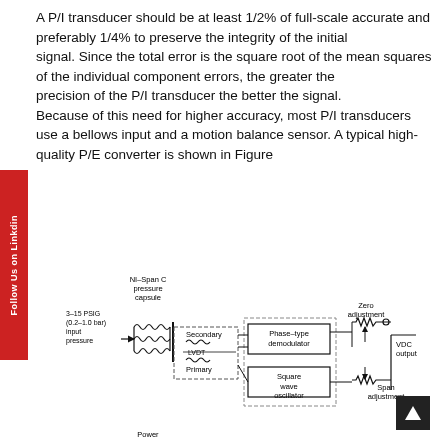A P/I transducer should be at least 1/2% of full-scale accurate and preferably 1/4% to preserve the integrity of the initial signal. Since the total error is the square root of the mean squares of the individual component errors, the greater the precision of the P/I transducer the better the signal. Because of this need for higher accuracy, most P/I transducers use a bellows input and a motion balance sensor. A typical high-quality P/E converter is shown in Figure
[Figure (engineering-diagram): Block diagram of a high-quality P/E converter showing NI-Span C pressure capsule with 3-15 PSIG (0.2-1.0 bar) input pressure, Secondary and Primary LVDT coils, Phase-type demodulator, Square wave oscillator, Zero adjustment, VDC output, Span adjustment, and Power connections.]